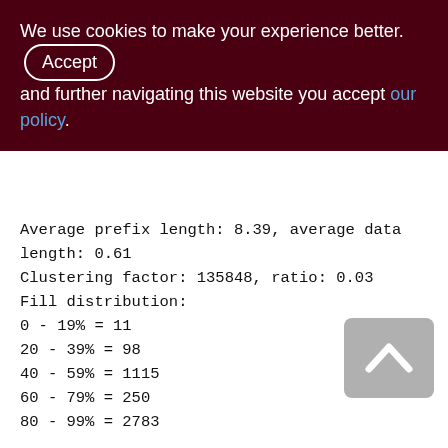We use cookies to make your experience better. By accepting and further navigating this website you accept our policy.
Average prefix length: 8.39, average data length: 0.61
Clustering factor: 135848, ratio: 0.03
Fill distribution:
0 - 19% = 11
20 - 39% = 98
40 - 59% = 1115
60 - 79% = 250
80 - 99% = 2783
Index XQS_1000_1200_SND_ID (1)
Root page: 48960, depth: 3, leaf buckets: 5484, nodes: 4772629